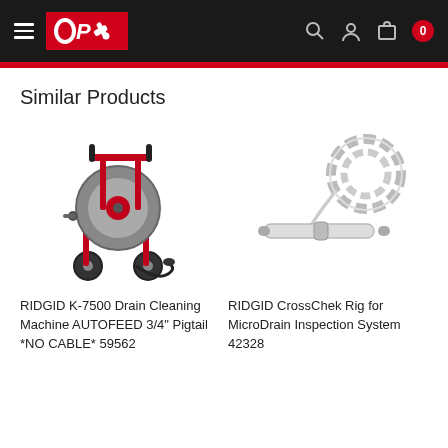OPT — navigation header with logo, search, account, cart
Similar Products
[Figure (photo): RIDGID K-7500 Drain Cleaning Machine with autofeed, red frame, grey drum, on wheels, with pigtail cable]
[Figure (photo): RIDGID CrossChek Rig for MicroDrain Inspection System — white coiled cable and slim cylindrical body]
RIDGID K-7500 Drain Cleaning Machine AUTOFEED 3/4" Pigtail *NO CABLE* 59562
RIDGID CrossChek Rig for MicroDrain Inspection System 42328